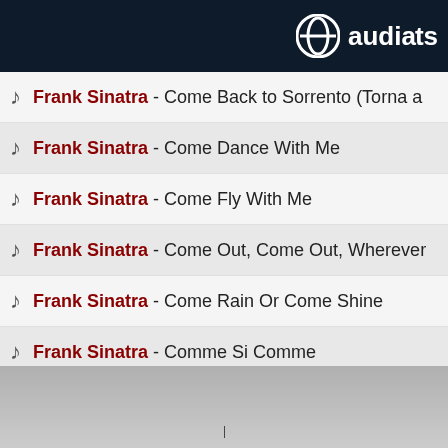audiarts
Frank Sinatra - Come Back to Sorrento (Torna a
Frank Sinatra - Come Dance With Me
Frank Sinatra - Come Fly With Me
Frank Sinatra - Come Out, Come Out, Wherever
Frank Sinatra - Come Rain Or Come Shine
Frank Sinatra - Comme Si Comme